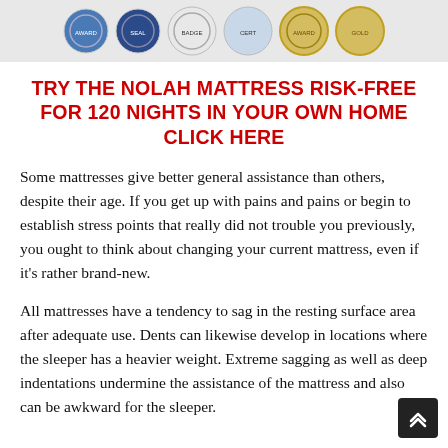[Figure (photo): Row of circular badge/seal icons at the top of the page]
TRY THE NOLAH MATTRESS RISK-FREE FOR 120 NIGHTS IN YOUR OWN HOME CLICK HERE
Some mattresses give better general assistance than others, despite their age. If you get up with pains and pains or begin to establish stress points that really did not trouble you previously, you ought to think about changing your current mattress, even if it's rather brand-new.
All mattresses have a tendency to sag in the resting surface area after adequate use. Dents can likewise develop in locations where the sleeper has a heavier weight. Extreme sagging as well as deep indentations undermine the assistance of the mattress and also can be awkward for the sleeper.